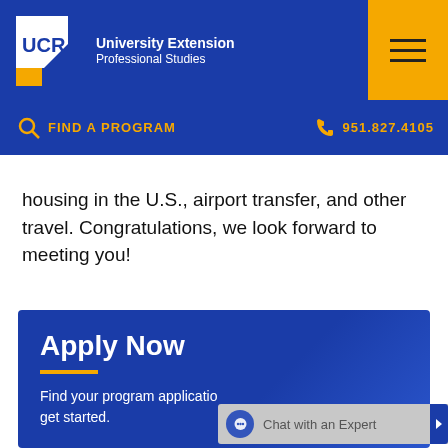UCR University Extension Professional Studies
FIND A PROGRAM   951.827.4105
housing in the U.S., airport transfer, and other travel. Congratulations, we look forward to meeting you!
Apply Now
Find your program applicatio get started.
Chat with an Expert